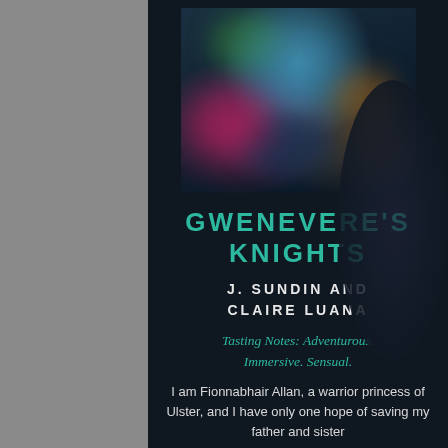[Figure (illustration): Blurry fantasy book cover art with colorful figures on dark background]
GWENEVERE'S KNIGHTS
J. SUNDIN AND CLAIRE LUANA
Tasting Notes: Adventurous. Immersive. Sensual.
I am Fionnabhair Allan, a warrior princess of Ulster, and I have only one hope of saving my father and sister